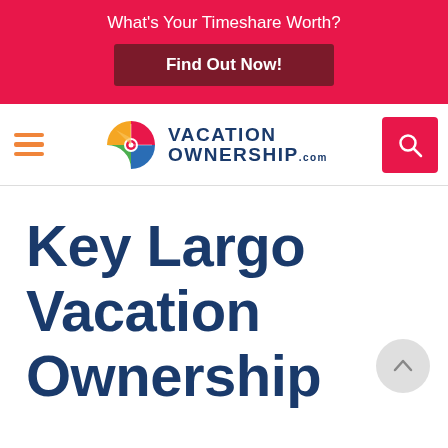What's Your Timeshare Worth?
Find Out Now!
[Figure (logo): VacationOwnership.com logo with colorful pinwheel/compass icon and bold dark blue text]
Key Largo Vacation Ownership